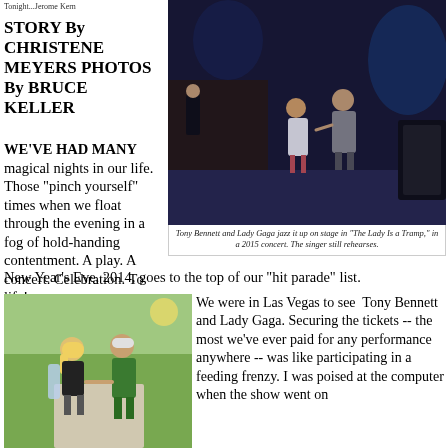Tonight...Jerome Kern
STORY By CHRISTENE MEYERS PHOTOS By BRUCE KELLER
[Figure (photo): Tony Bennett and Lady Gaga dancing on stage during a 2015 concert]
Tony Bennett and Lady Gaga jazz it up on stage in "The Lady Is a Tramp," in a 2015 concert. The singer still rehearses.
WE'VE HAD MANY magical nights in our life. Those "pinch yourself" times when we float through the evening in a fog of hold-handing contentment. A play. A concert. Celebration. To life!
New Year's Eve, 2014, goes to the top of our "hit parade" list.
[Figure (photo): Tony Bennett walking outdoors with a woman]
We were in Las Vegas to see  Tony Bennett and Lady Gaga. Securing the tickets -- the most we've ever paid for any performance anywhere -- was like participating in a feeding frenzy. I was poised at the computer when the show went on